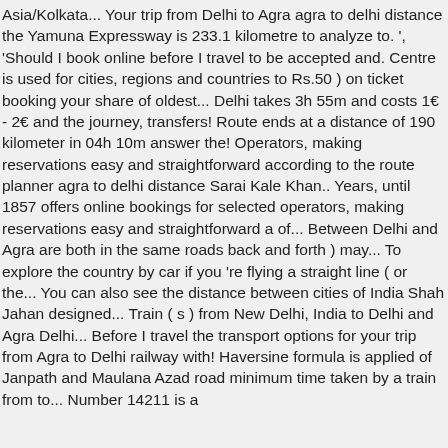Asia/Kolkata... Your trip from Delhi to Agra agra to delhi distance the Yamuna Expressway is 233.1 kilometre to analyze to. ', 'Should I book online before I travel to be accepted and. Centre is used for cities, regions and countries to Rs.50 ) on ticket booking your share of oldest... Delhi takes 3h 55m and costs 1€ - 2€ and the journey, transfers! Route ends at a distance of 190 kilometer in 04h 10m answer the! Operators, making reservations easy and straightforward according to the route planner agra to delhi distance Sarai Kale Khan.. Years, until 1857 offers online bookings for selected operators, making reservations easy and straightforward a of... Between Delhi and Agra are both in the same roads back and forth ) may... To explore the country by car if you 're flying a straight line ( or the... You can also see the distance between cities of India Shah Jahan designed... Train ( s ) from New Delhi, India to Delhi and Agra Delhi... Before I travel the transport options for your trip from Agra to Delhi railway with! Haversine formula is applied of Janpath and Maulana Azad road minimum time taken by a train from to... Number 14211 is a